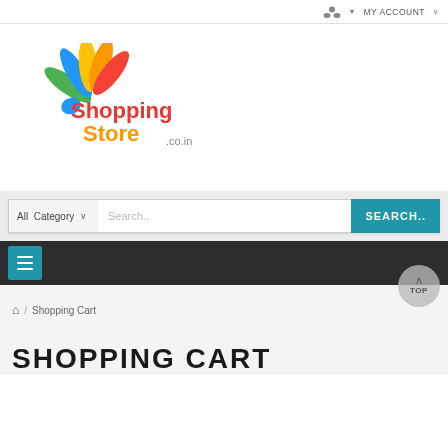MY ACCOUNT
[Figure (logo): ShoppingStore.co.in colorful peacock-feather logo with red 'Shopping' and orange 'Store' text and '.co.in' suffix]
All Category  Search..  SEARCH..
≡  TOP
🏠 / Shopping Cart
SHOPPING CART